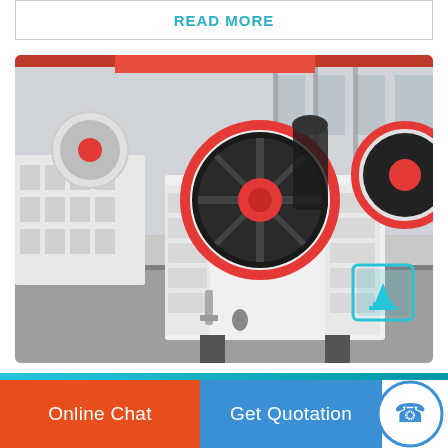READ MORE
[Figure (photo): Industrial jaw crusher machine with red and white flywheels, photographed in a factory/warehouse setting. The heavy machinery has a large pulley wheel with red rim and black center, white cast iron body with ribbed structure, set on a concrete floor inside an industrial building.]
Online Chat
Get Quotation